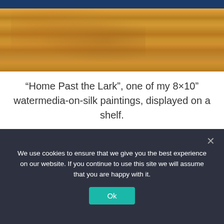[Figure (photo): Close-up photograph of a wooden shelf surface with warm golden-brown burl wood grain pattern, with a hint of blue painting visible at the top edge.]
“Home Past the Lark”, one of my 8×10” watermedia-on-silk paintings, displayed on a shelf.
We use cookies to ensure that we give you the best experience on our website. If you continue to use this site we will assume that you are happy with it.